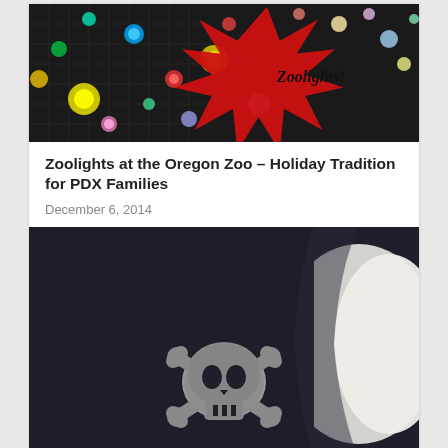[Figure (photo): Photo of colorful Christmas lights on a dark wire/fence structure with a red star-burst graphic overlay that reads 'Zoolights!' in stylized text]
Zoolights at the Oregon Zoo – Holiday Tradition for PDX Families
December 6, 2014
[Figure (photo): Close-up photo of a dark navy/black fabric item (jacket or hoodie) with a grey skull and crossbones appliqué patch, partially overlapping a white furry item]